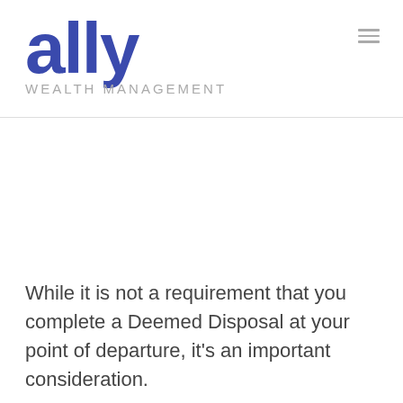[Figure (logo): Ally Wealth Management logo — large bold blue 'ally' wordmark with 'WEALTH MANAGEMENT' in grey below]
While it is not a requirement that you complete a Deemed Disposal at your point of departure, it's an important consideration.